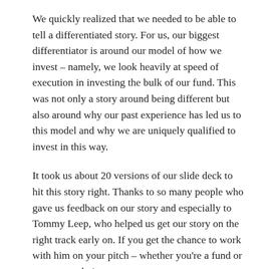We quickly realized that we needed to be able to tell a differentiated story.  For us, our biggest differentiator is around our model of how we invest – namely, we look heavily at speed of execution in investing the bulk of our fund.  This was not only a story around being different but also around why our past experience has led us to this model and why we are uniquely qualified to invest in this way.
It took us about 20 versions of our slide deck to hit this story right.  Thanks to so many people who gave us feedback on our story and especially to Tommy Leep, who helped us get our story on the right track early on.  If you get the chance to work with him on your pitch – whether you're a fund or a startup – do it.
5) We built momentum by packing in lots of meetings.  I personally did 345 fundraising